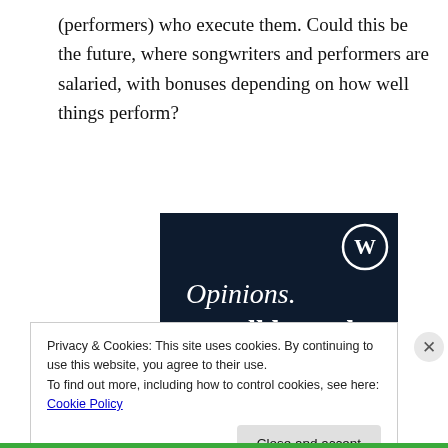(performers) who execute them. Could this be the future, where songwriters and performers are salaried, with bonuses depending on how well things perform?
[Figure (screenshot): WordPress.com advertisement with dark navy background. WordPress logo (W in circle) in top right. Text reads 'Opinions. We all have them!' in white serif font. Pink button and white circle visible at bottom edge.]
Privacy & Cookies: This site uses cookies. By continuing to use this website, you agree to their use.
To find out more, including how to control cookies, see here: Cookie Policy